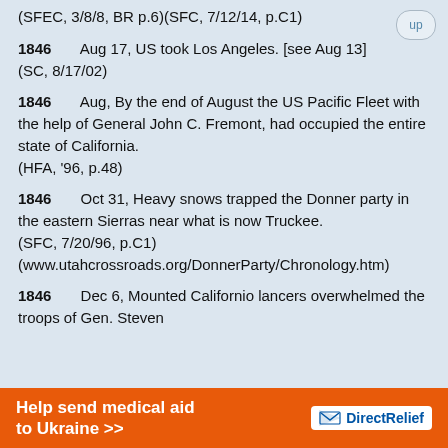(SFEC, 3/8/8, BR p.6)(SFC, 7/12/14, p.C1)
1846   Aug 17, US took Los Angeles. [see Aug 13]
    (SC, 8/17/02)
1846   Aug, By the end of August the US Pacific Fleet with the help of General John C. Fremont, had occupied the entire state of California.
    (HFA, '96, p.48)
1846   Oct 31, Heavy snows trapped the Donner party in the eastern Sierras near what is now Truckee.
    (SFC, 7/20/96, p.C1)
(www.utahcrossroads.org/DonnerParty/Chronology.htm)
1846   Dec 6, Mounted Californio lancers overwhelmed the troops of Gen. Steven
[Figure (infographic): Orange advertisement banner for Direct Relief charity: 'Help send medical aid to Ukraine >>' with Direct Relief logo on white background]